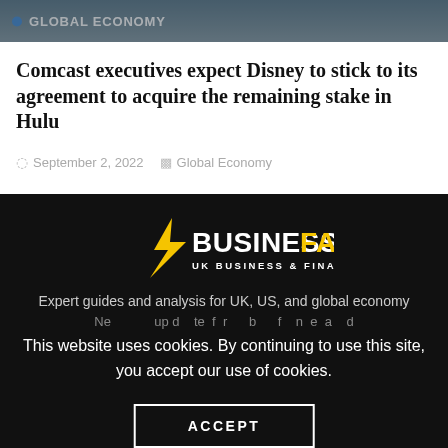GLOBAL ECONOMY
Comcast executives expect Disney to stick to its agreement to acquire the remaining stake in Hulu
September 2, 2022   Global Economy
[Figure (logo): BusinessFast logo — lightning bolt icon with BUSINESSFAST text in white and yellow, subtitle UK BUSINESS & FINANCE NEWS]
Expert guides and analysis for UK, US, and global economy
This website uses cookies. By continuing to use this site, you accept our use of cookies.
ACCEPT